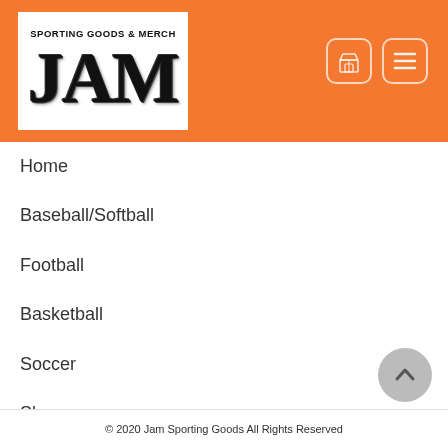[Figure (logo): JAM Sporting Goods & Merch logo on orange background with two icon buttons (store and hamburger menu)]
Home
Baseball/Softball
Football
Basketball
Soccer
Shop
© 2020 Jam Sporting Goods All Rights Reserved